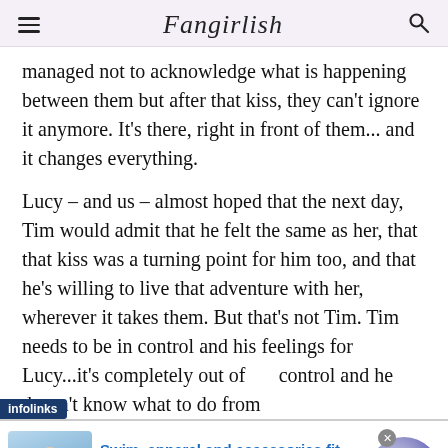Fangirlish
managed not to acknowledge what is happening between them but after that kiss, they can't ignore it anymore. It's there, right in front of them... and it changes everything.
Lucy – and us – almost hoped that the next day, Tim would admit that he felt the same as her, that that kiss was a turning point for him too, and that he's willing to live that adventure with her, wherever it takes them. But that's not Tim. Tim needs to be in control and his feelings for Lucy...it's completely out of his control and he doesn't know what to do from
[Figure (screenshot): Advertisement banner for Lands' End: 'Swim, apparel and accessories fit for' with image of woman in swimwear and circular arrow button]